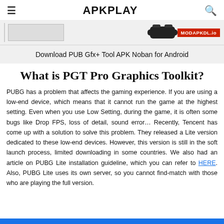APKPLAY
[Figure (screenshot): Banner image showing a game tool APK with a red MODAPKDL.io label and game controller graphic]
Download PUB Gfx+ Tool APK Noban for Android
What is PGT Pro Graphics Toolkit?
PUBG has a problem that affects the gaming experience. If you are using a low-end device, which means that it cannot run the game at the highest setting. Even when you use Low Setting, during the game, it is often some bugs like Drop FPS, loss of detail, sound error… Recently, Tencent has come up with a solution to solve this problem. They released a Lite version dedicated to these low-end devices. However, this version is still in the soft launch process, limited downloading in some countries. We also had an article on PUBG Lite installation guideline, which you can refer to HERE. Also, PUBG Lite uses its own server, so you cannot find-match with those who are playing the full version.